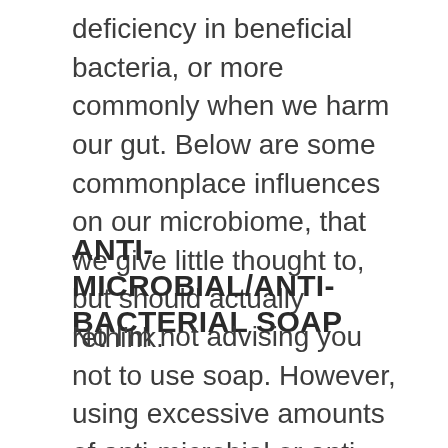deficiency in beneficial bacteria, or more commonly when we harm our gut. Below are some commonplace influences on our microbiome, that we give little thought to, but should actually rethink.
ANTI-MICROBIAL/ANTI-BACTERIAL SOAP
No I'm not advising you not to use soap. However, using excessive amounts of anti-microbial or anti-bacterial soaps damages our microbiome, while making